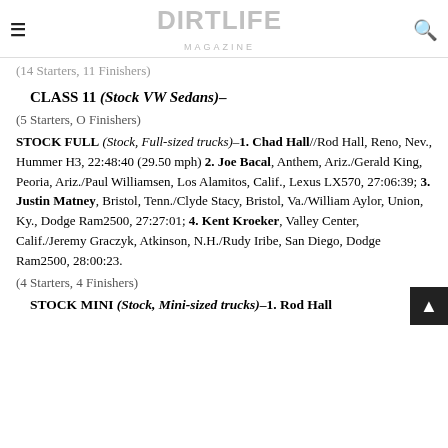DIRT LIFE MAGAZINE
(14 Starters, 11 Finishers)
CLASS 11 (Stock VW Sedans)–
(5 Starters, O Finishers)
STOCK FULL (Stock, Full-sized trucks)–1. Chad Hall//Rod Hall, Reno, Nev., Hummer H3, 22:48:40 (29.50 mph) 2. Joe Bacal, Anthem, Ariz./Gerald King, Peoria, Ariz./Paul Williamsen, Los Alamitos, Calif., Lexus LX570, 27:06:39; 3. Justin Matney, Bristol, Tenn./Clyde Stacy, Bristol, Va./William Aylor, Union, Ky., Dodge Ram2500, 27:27:01; 4. Kent Kroeker, Valley Center, Calif./Jeremy Graczyk, Atkinson, N.H./Rudy Iribe, San Diego, Dodge Ram2500, 28:00:23.
(4 Starters, 4 Finishers)
STOCK MINI (Stock, Mini-sized trucks)–1. Rod Hall